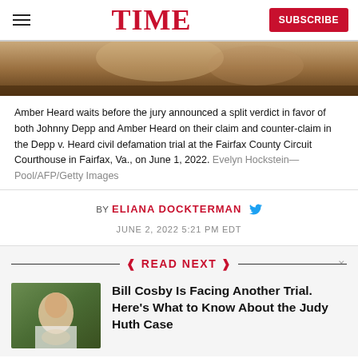TIME
[Figure (photo): Partial photo of Amber Heard at the Fairfax County Circuit Courthouse, showing amber/golden tones]
Amber Heard waits before the jury announced a split verdict in favor of both Johnny Depp and Amber Heard on their claim and counter-claim in the Depp v. Heard civil defamation trial at the Fairfax County Circuit Courthouse in Fairfax, Va., on June 1, 2022. Evelyn Hockstein—Pool/AFP/Getty Images
BY ELIANA DOCKTERMAN
JUNE 2, 2022 5:21 PM EDT
READ NEXT
[Figure (photo): Thumbnail photo of Bill Cosby outdoors in a white shirt]
Bill Cosby Is Facing Another Trial. Here's What to Know About the Judy Huth Case